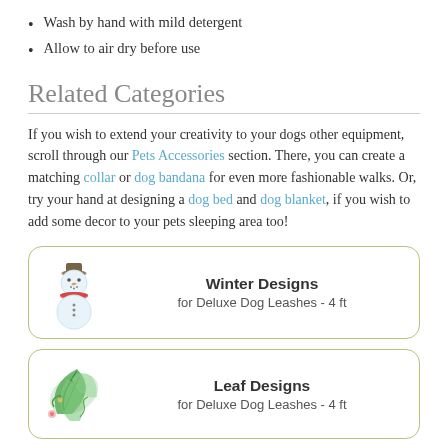Wash by hand with mild detergent
Allow to air dry before use
Related Categories
If you wish to extend your creativity to your dogs other equipment, scroll through our Pets Accessories section. There, you can create a matching collar or dog bandana for even more fashionable walks. Or, try your hand at designing a dog bed and dog blanket, if you wish to add some decor to your pets sleeping area too!
[Figure (illustration): Snowman watercolor illustration]
Winter Designs
for Deluxe Dog Leashes - 4 ft
[Figure (illustration): Green tropical leaf watercolor illustration]
Leaf Designs
for Deluxe Dog Leashes - 4 ft